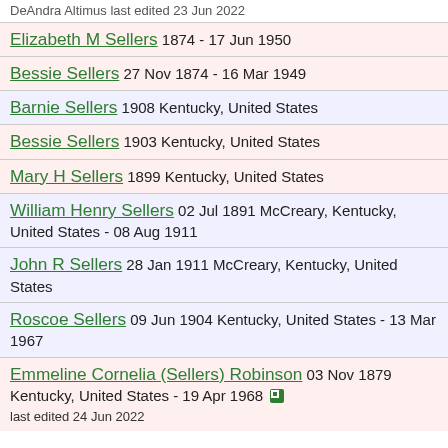DeAndra Altimus last edited 23 Jun 2022
Elizabeth M Sellers 1874 - 17 Jun 1950
Bessie Sellers 27 Nov 1874 - 16 Mar 1949
Barnie Sellers 1908 Kentucky, United States
Bessie Sellers 1903 Kentucky, United States
Mary H Sellers 1899 Kentucky, United States
William Henry Sellers 02 Jul 1891 McCreary, Kentucky, United States - 08 Aug 1911
John R Sellers 28 Jan 1911 McCreary, Kentucky, United States
Roscoe Sellers 09 Jun 1904 Kentucky, United States - 13 Mar 1967
Emmeline Cornelia (Sellers) Robinson 03 Nov 1879 Kentucky, United States - 19 Apr 1968 last edited 24 Jun 2022